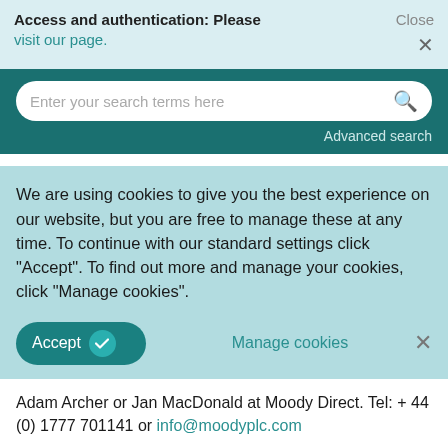Access and authentication: Please visit our page.  Close ×
[Figure (screenshot): Search bar with placeholder text 'Enter your search terms here' and a search icon, on a teal background with 'Advanced search' link below]
We are using cookies to give you the best experience on our website, but you are free to manage these at any time. To continue with our standard settings click "Accept". To find out more and manage your cookies, click "Manage cookies".
Accept  Manage cookies  ×
Adam Archer or Jan MacDonald at Moody Direct. Tel: + 44 (0) 1777 701141 or info@moodyplc.com